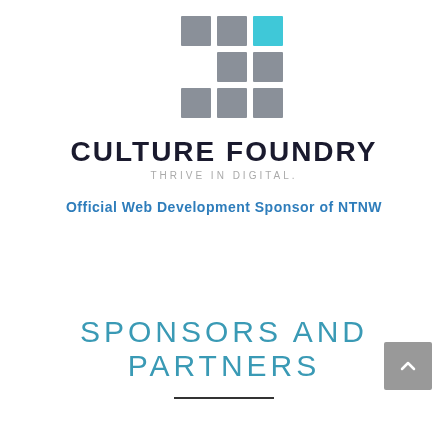[Figure (logo): Culture Foundry logo: 3x3 grid of squares in grey tones with one cyan/teal square in top right, above the text CULTURE FOUNDRY and tagline THRIVE IN DIGITAL.]
Official Web Development Sponsor of NTNW
SPONSORS AND PARTNERS